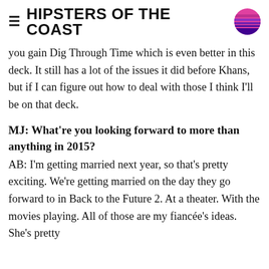HIPSTERS OF THE COAST
you gain Dig Through Time which is even better in this deck. It still has a lot of the issues it did before Khans, but if I can figure out how to deal with those I think I'll be on that deck.
MJ: What're you looking forward to more than anything in 2015?
AB: I'm getting married next year, so that's pretty exciting. We're getting married on the day they go forward to in Back to the Future 2. At a theater. With the movies playing. All of those are my fiancée's ideas. She's pretty